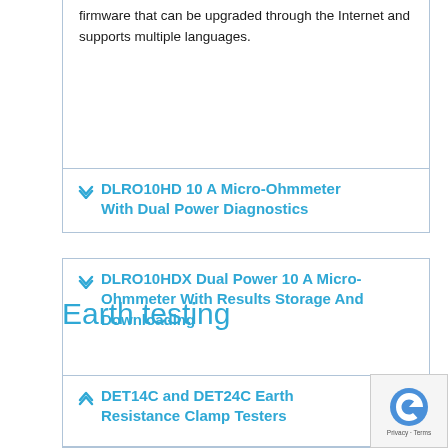firmware that can be upgraded through the Internet and supports multiple languages.
DLRO10HD 10 A Micro-Ohmmeter With Dual Power Diagnostics
DLRO10HDX Dual Power 10 A Micro-Ohmmeter With Results Storage And Downloading
Earth testing
DET14C and DET24C Earth Resistance Clamp Testers
DET14C and DET24C Earth Resistance Clamp